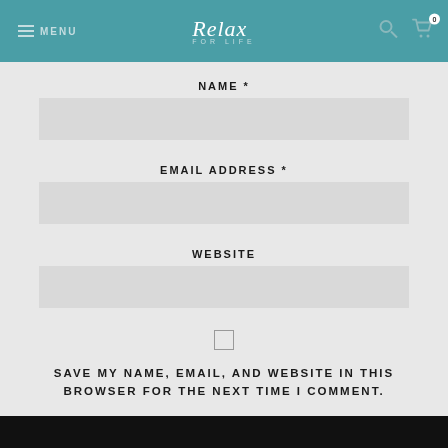MENU | Relax FOR LIFE
NAME *
EMAIL ADDRESS *
WEBSITE
SAVE MY NAME, EMAIL, AND WEBSITE IN THIS BROWSER FOR THE NEXT TIME I COMMENT.